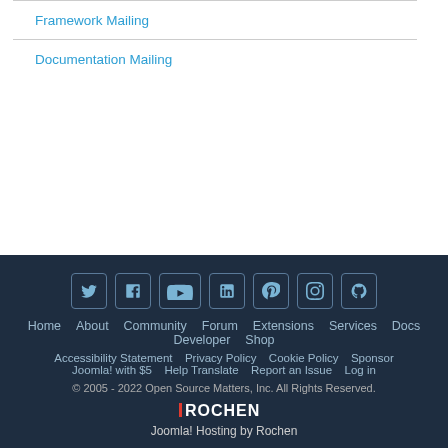Framework Mailing
Documentation Mailing
[Figure (other): Social media icons: Twitter, Facebook, YouTube, LinkedIn, Pinterest, Instagram, GitHub]
Home   About   Community   Forum   Extensions   Services   Docs   Developer   Shop
Accessibility Statement   Privacy Policy   Cookie Policy   Sponsor Joomla! with $5   Help Translate   Report an Issue   Log in
© 2005 - 2022 Open Source Matters, Inc. All Rights Reserved.
[Figure (logo): ROCHEN logo in white/teal text]
Joomla! Hosting by Rochen